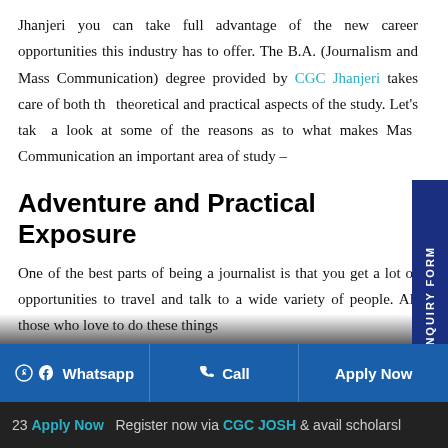Jhanjeri you can take full advantage of the new career opportunities this industry has to offer. The B.A. (Journalism and Mass Communication) degree provided by CGC Jhanjeri takes care of both the theoretical and practical aspects of the study. Let's take a look at some of the reasons as to what makes Mass Communication an important area of study –
Adventure and Practical Exposure
One of the best parts of being a journalist is that you get a lot of opportunities to travel and talk to a wide variety of people. All those who love to do these things
23 Apply Now   Register now via CGC JOSH & avail scholarshi